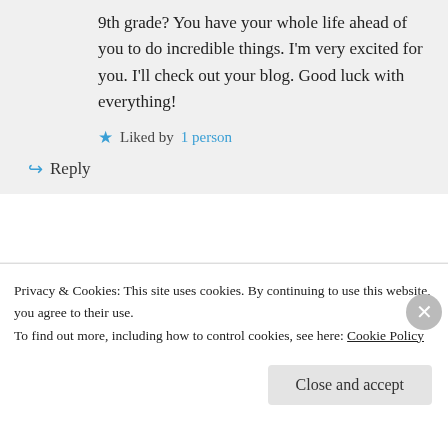9th grade? You have your whole life ahead of you to do incredible things. I’m very excited for you. I’ll check out your blog. Good luck with everything!
Liked by 1 person
Reply
Patty on March 4, 2017 at 11:17 am
Thatâs way cool! 9NTH! Wow! Has been
Privacy & Cookies: This site uses cookies. By continuing to use this website, you agree to their use. To find out more, including how to control cookies, see here: Cookie Policy
Close and accept